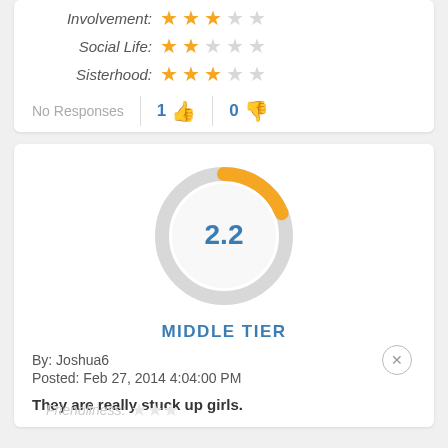Involvement: ★★★☆☆
Social Life: ★★☆☆☆
Sisterhood: ★★★☆☆
No Responses | 1 👍 | 0 👎
[Figure (donut-chart): 2.2 MIDDLE TIER]
By: Joshua6
Posted: Feb 27, 2014 4:04:00 PM
They are really stuck up girls.
Friendliness: